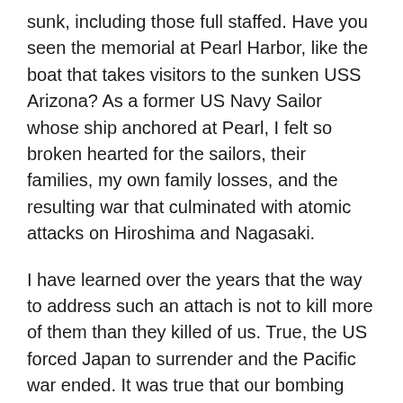sunk, including those full staffed. Have you seen the memorial at Pearl Harbor, like the boat that takes visitors to the sunken USS Arizona? As a former US Navy Sailor whose ship anchored at Pearl, I felt so broken hearted for the sailors, their families, my own family losses, and the resulting war that culminated with atomic attacks on Hiroshima and Nagasaki.
I have learned over the years that the way to address such an attach is not to kill more of them than they killed of us. True, the US forced Japan to surrender and the Pacific war ended. It was true that our bombing was celebrated in the US, movies portraying related actions heroically. The world feared us and our pride soared. Other countries got atomic weapons. We dug survival bunkers.
When we retaliate, we share the aggressor’s evil and wrong. Yes, we needed to respond. It is not clear how this